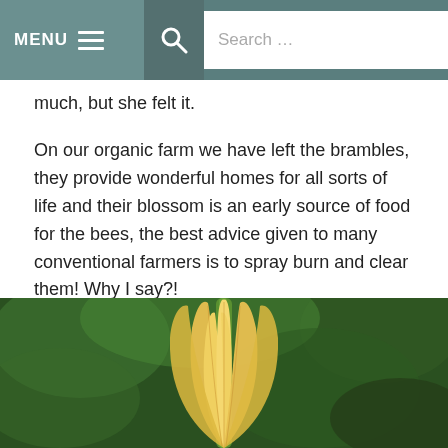MENU  Search …
much, but she felt it.
On our organic farm we have left the brambles, they provide wonderful homes for all sorts of life and their blossom is an early source of food for the bees, the best advice given to many conventional farmers is to spray burn and clear them! Why I say?!
[Figure (photo): Close-up photograph of a yellow flower bud (likely a courgette/zucchini blossom) with elongated yellow-orange petals coming to points, against a blurred green background.]